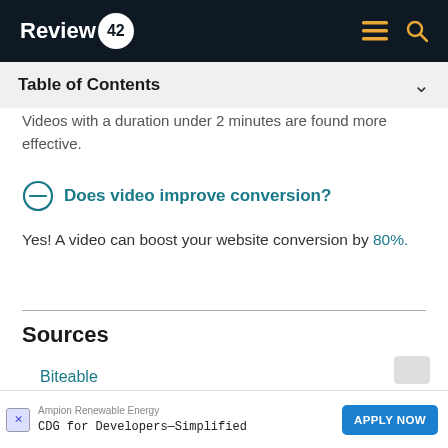Review42
Table of Contents
Videos with a duration under 2 minutes are found more effective.
Does video improve conversion?
Yes! A video can boost your website conversion by 80%.
Sources
Biteable